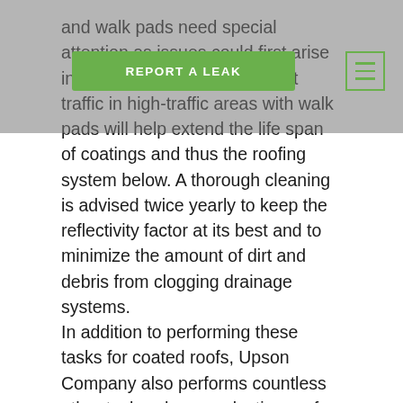and walk pads need special attention as issues could first arise in these areas. Minimizing foot traffic in high-traffic areas with walk pads will help extend the life span of coatings and thus the roofing system below. A thorough cleaning is advised twice yearly to keep the reflectivity factor at its best and to minimize the amount of dirt and debris from clogging drainage systems.
In addition to performing these tasks for coated roofs, Upson Company also performs countless other tasks when conducting roof inspections on coated roofs. For commercial roof repair in the Boise area, there is no better company. As a preferred applicator for most roof coatings we have the knowledge to address and maintain coated roofing systems.